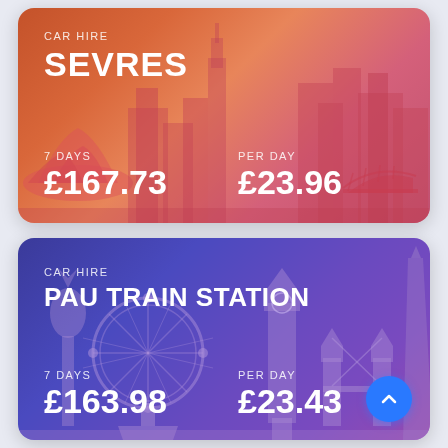[Figure (screenshot): Car hire offer card for SEVRES with orange-red gradient background and city skyline illustration. Shows 7 DAYS £167.73 and PER DAY £23.96.]
[Figure (screenshot): Car hire offer card for PAU TRAIN STATION with purple-blue gradient background and London skyline illustration. Shows 7 DAYS £163.98 and PER DAY £23.43. Blue scroll-up button in bottom right.]